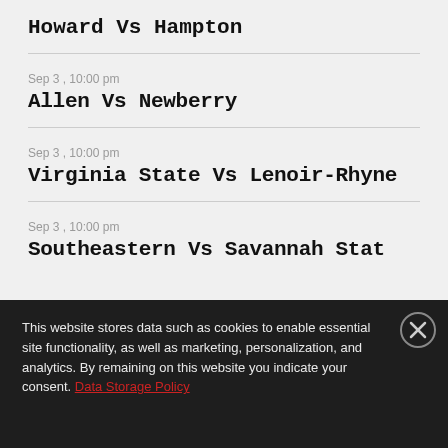Howard Vs Hampton
Sep 3 , 10:00 pm
Allen Vs Newberry
Sep 3 , 10:00 pm
Virginia State Vs Lenoir-Rhyne
Sep 3 , 10:00 pm
Southeastern Vs Savannah Stat
This website stores data such as cookies to enable essential site functionality, as well as marketing, personalization, and analytics. By remaining on this website you indicate your consent. Data Storage Policy